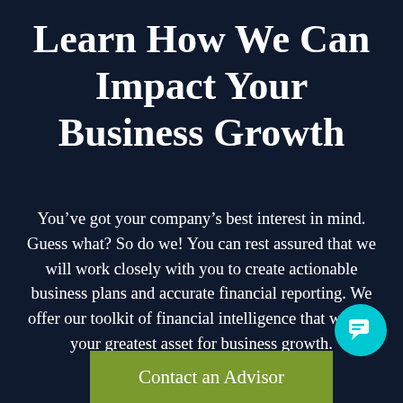Learn How We Can Impact Your Business Growth
You’ve got your company’s best interest in mind. Guess what? So do we! You can rest assured that we will work closely with you to create actionable business plans and accurate financial reporting. We offer our toolkit of financial intelligence that will be your greatest asset for business growth.
[Figure (illustration): Teal circular chat bubble icon button in bottom right corner]
Contact an Advisor